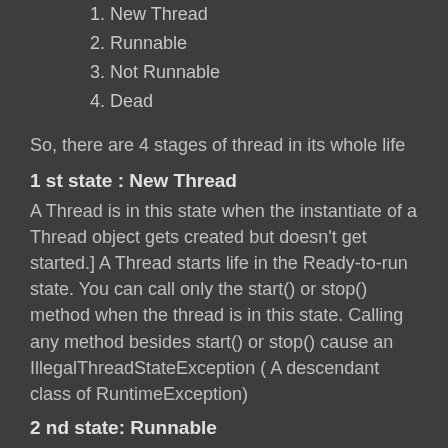1. New Thread
2. Runnable
3. Not Runnable
4. Dead
So, there are 4 stages of thread in its whole life
1 st state : New Thread
A Thread is in this state when the instantiate of a Thread object gets created but doesn't get started.] A Thread starts life in the Ready-to-run state. You can call only the start() or stop() method when the thread is in this state. Calling any method besides start() or stop() cause an IllegalThreadStateException ( A descendant class of RuntimeException)
2 nd state: Runnable
When the start() method is invoked on a new